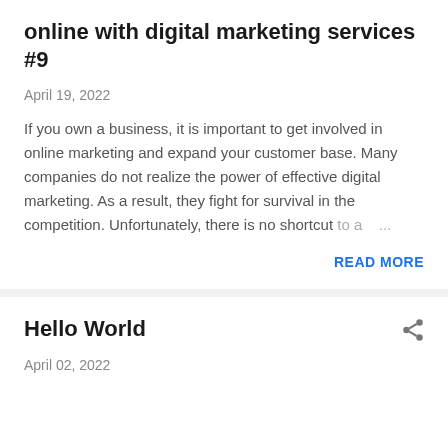online with digital marketing services #9
April 19, 2022
If you own a business, it is important to get involved in online marketing and expand your customer base. Many companies do not realize the power of effective digital marketing. As a result, they fight for survival in the competition. Unfortunately, there is no shortcut to a ...
READ MORE
Hello World
April 02, 2022
READ MORE